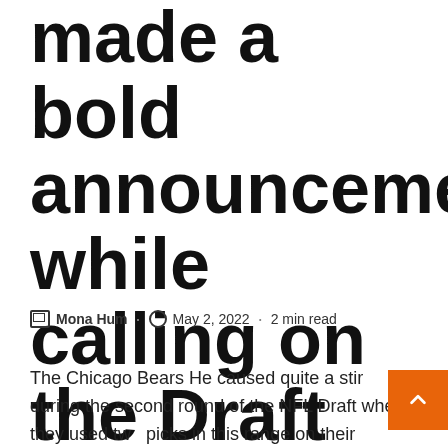made a bold announcement while calling on the Draft Bears
✏ Mona Hum · 🕐 May 2, 2022 · 2 min read
The Chicago Bears He caused quite a stir during the second round of the NFL Draft when they used two picks in this range on their defensive backs. Many experts were perplexed because GM Ryan Poles